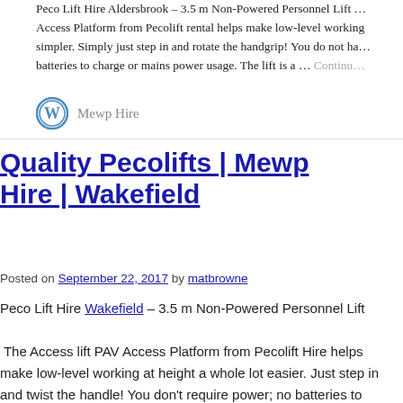Peco Lift Hire Aldersbrook – 3.5 m Non-Powered Personnel Lift … Access Platform from Pecolift rental helps make low-level working simpler. Simply just step in and rotate the handgrip! You do not have batteries to charge or mains power usage. The lift is a … Continue
Mewp Hire
Quality Pecolifts | Mewp Hire | Wakefield
Posted on September 22, 2017 by matbrowne
Peco Lift Hire Wakefield – 3.5 m Non-Powered Personnel Lift
The Access lift PAV Access Platform from Pecolift Hire helps make low-level working at height a whole lot easier. Just step in and twist the handle! You don't require power; no batteries to charge or mains power usage.